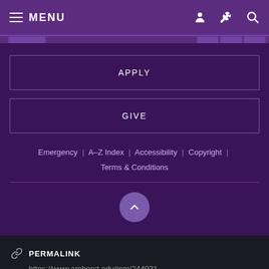MENU
APPLY
GIVE
Emergency | A–Z Index | Accessibility | Copyright | Terms & Conditions
PERMALINK https://www.amherst.edu/mm/244031